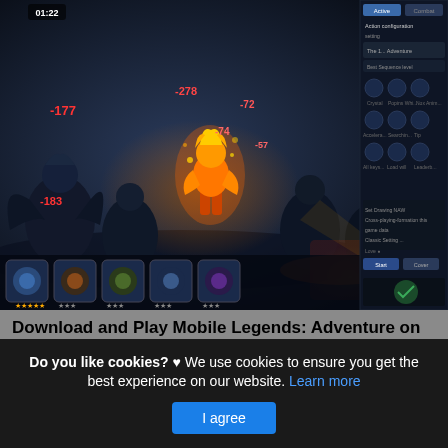[Figure (screenshot): Screenshot of Mobile Legends: Adventure game running on PC with NoxPlayer emulator. Shows a battle scene with dark fantasy environment, damage numbers floating (-177, -278, -72, -57, -183), a fire character in the center, skill icons at the bottom, and a right-side panel with game controls and settings.]
Download and Play Mobile Legends: Adventure on PC
This is actually a post or even photo approximately the Download and Play Mobile Legends: Adventure on PC with NoxPlayer, if you prefer much a lot extra relevant information approximately the write-up or even photo satisfy click on or even see the observing web link
Do you like cookies? ♥ We use cookies to ensure you get the best experience on our website. Learn more
I agree